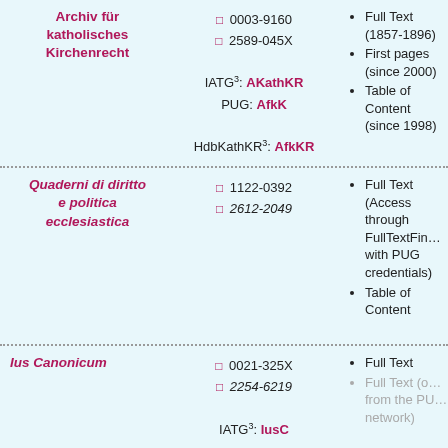Archiv für katholisches Kirchenrecht
0003-9160 / 2589-045X / IATG3: AKathKR / PUG: AfkK / HdbKathKR3: AfkKR
Full Text (1857-1896)
First pages (since 2000)
Table of Content (since 1998)
Quaderni di diritto e politica ecclesiastica
1122-0392 / 2612-2049
Full Text (Access through FullTextFinder with PUG credentials)
Table of Content
Ius Canonicum
0021-325X / 2254-6219 / IATG3: IusC / PUG, HdbKathKR3: IusCan
Full Text
Full Text (only from the PUG network)